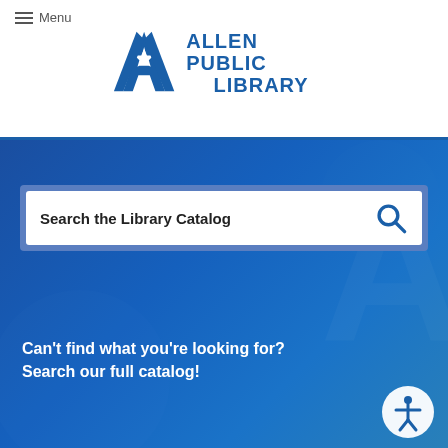Menu
[Figure (logo): Allen Public Library logo with stylized letter A and star, blue text reading ALLEN PUBLIC LIBRARY]
[Figure (screenshot): Search the Library Catalog search bar with magnifying glass icon on a blue hero background]
Can't find what you're looking for? Search our full catalog!
[Figure (other): Accessibility/wheelchair icon button in circular white frame]